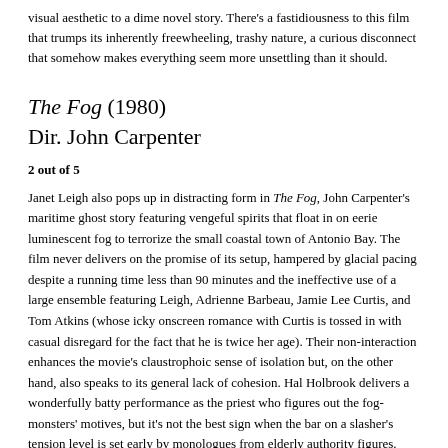visual aesthetic to a dime novel story. There's a fastidiousness to this film that trumps its inherently freewheeling, trashy nature, a curious disconnect that somehow makes everything seem more unsettling than it should.
The Fog (1980)
Dir. John Carpenter
2 out of 5
Janet Leigh also pops up in distracting form in The Fog, John Carpenter's maritime ghost story featuring vengeful spirits that float in on eerie luminescent fog to terrorize the small coastal town of Antonio Bay. The film never delivers on the promise of its setup, hampered by glacial pacing despite a running time less than 90 minutes and the ineffective use of a large ensemble featuring Leigh, Adrienne Barbeau, Jamie Lee Curtis, and Tom Atkins (whose icky onscreen romance with Curtis is tossed in with casual disregard for the fact that he is twice her age). Their non-interaction enhances the movie's claustrophoic sense of isolation but, on the other hand, also speaks to its general lack of cohesion. Hal Holbrook delivers a wonderfully batty performance as the priest who figures out the fog-monsters' motives, but it's not the best sign when the bar on a slasher's tension level is set early by monologues from elderly authority figures. Sandwiched between two stone-cold classics in the Carpenter canon (Halloween and The Thing), The Fog feels distinctly like a great conductor cracking his knuckles between movements.
Dead Ringers (1988)
Dir. David Cronenberg